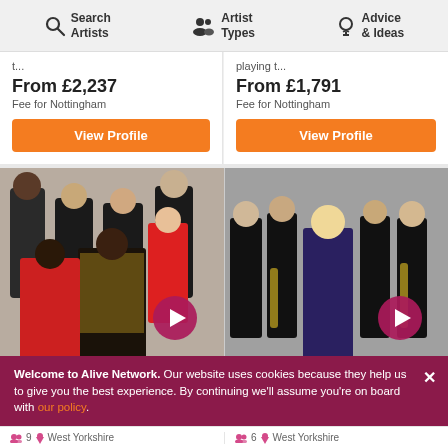Search Artists | Artist Types | Advice & Ideas
t...
playing t...
From £2,237
Fee for Nottingham
View Profile
From £1,791
Fee for Nottingham
View Profile
[Figure (photo): Group of musicians in red and black outfits posed on steps, with a video play button overlay]
[Figure (photo): Group of musicians in black suits with a blonde woman in the center, with a video play button overlay]
Welcome to Alive Network. Our website uses cookies because they help us to give you the best experience. By continuing we'll assume you're on board with our policy.
9  West Yorkshire
6  West Yorkshire